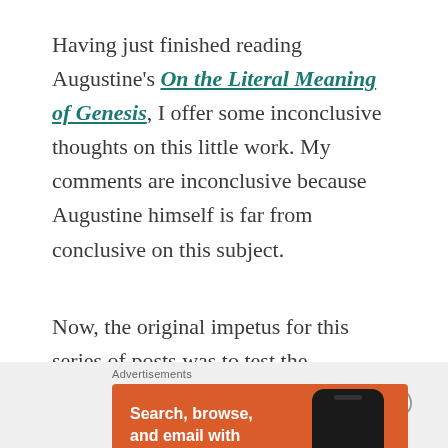Having just finished reading Augustine's On the Literal Meaning of Genesis, I offer some inconclusive thoughts on this little work. My comments are inconclusive because Augustine himself is far from conclusive on this subject.
Now, the original impetus for this series of posts was to test the assertion of Ken Ham,
Advertisements
[Figure (screenshot): DuckDuckGo advertisement banner with orange background showing a phone mockup, text 'Search, browse, and email with more privacy.' and button 'All in One Free App']